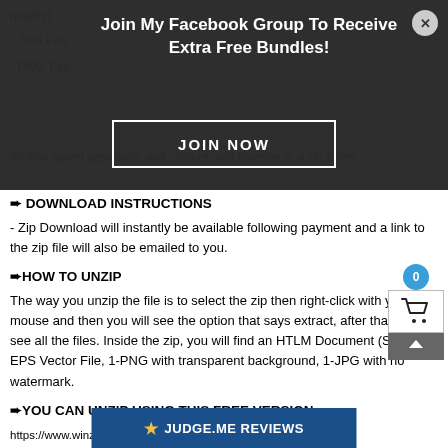[Figure (screenshot): Dark modal overlay with Facebook group join prompt. Title: 'Join My Facebook Group To Receive Extra Free Bundles!' with a JOIN NOW button and close (X) button.]
JPG File
PNG File
All files saved separately and compressed together in a zip folder.
➨ DOWNLOAD INSTRUCTIONS
- Zip Download will instantly be available following payment and a link to the zip file will also be emailed to you.
➨HOW TO UNZIP
The way you unzip the file is to select the zip then right-click with your mouse and then you will see the option that says extract, after that you will see all the files. Inside the zip, you will find an HTLM Document (SVG), 1-EPS Vector File, 1-PNG with transparent background, 1-JPG with no watermark.
➨YOU CAN UNZIP USING THIS FREE VERSION
https://www.winzip.com/landing/download-winzip.html?target=br&x-target=bing&msclkid=9011edf65b471b0e3ea6b287a2174911&utm_source=bing%20EN%20-%20Brand&utm_te..._content=1.01%20%5
[Figure (screenshot): Shopping cart icon with badge showing 0 and a scroll-up arrow button below.]
[Figure (screenshot): Judge.me Reviews blue bar button with star icon at bottom of page.]